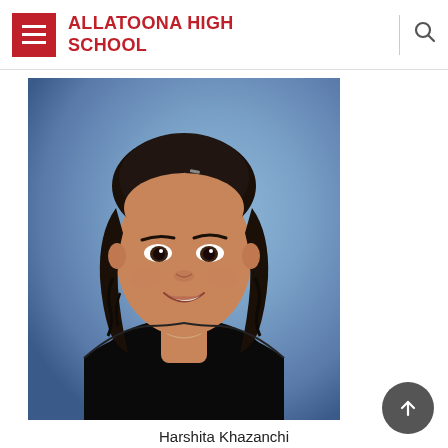ALLATOONA HIGH SCHOOL
[Figure (photo): School yearbook-style portrait photo of Harshita Khazanchi, a young woman with dark wavy shoulder-length hair, smiling, wearing a black off-shoulder top, against a blue gradient background.]
Harshita Khazanchi